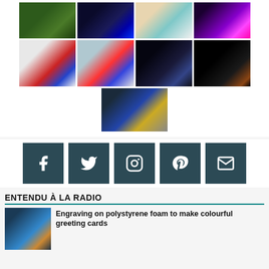[Figure (photo): Grid of 9 science/nature thumbnail images: kakapo parrot, glowing flask, greeting card painting, plasma ball, gummy candy shapes, colorful beaker experiment, wolf howling at moon, astronaut floating above Mars, Isaac Newton book cover]
[Figure (infographic): Row of 5 social media icon buttons (Facebook, Twitter, Instagram, Pinterest, Email) in dark teal square buttons]
ENTENDU À LA RADIO
[Figure (photo): Thumbnail image for article about engraving on polystyrene foam to make colourful greeting cards]
Engraving on polystyrene foam to make colourful greeting cards